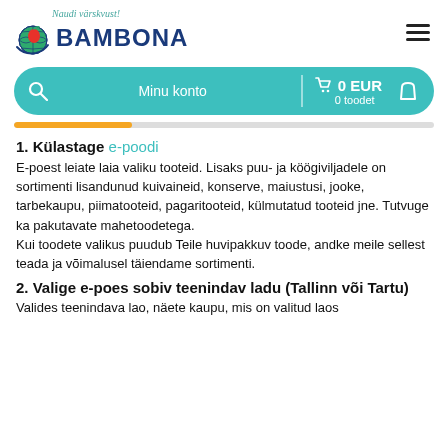[Figure (logo): Bambona logo with globe/fruit icon and tagline 'Naudi värskvust!']
[Figure (screenshot): Navigation bar with search icon, 'Minu konto', cart showing '0 EUR / 0 toodet', and bag icon on teal rounded background]
[Figure (infographic): Progress bar: orange fill ~28%, grey remainder]
1. Külastage e-poodi
E-poest leiate laia valiku tooteid. Lisaks puu- ja köögiviljadele on sortimenti lisandunud kuivaineid, konserve, maiustusi, jooke, tarbekaupu, piimatooteid, pagaritooteid, külmutatud tooteid jne. Tutvuge ka pakutavate mahetoodetega.
Kui toodete valikus puudub Teile huvipakkuv toode, andke meile sellest teada ja võimalusel täiendame sortimenti.
2. Valige e-poes sobiv teenindav ladu (Tallinn või Tartu)
Valides teenindava lao, näete kaupu, mis on valitud laos